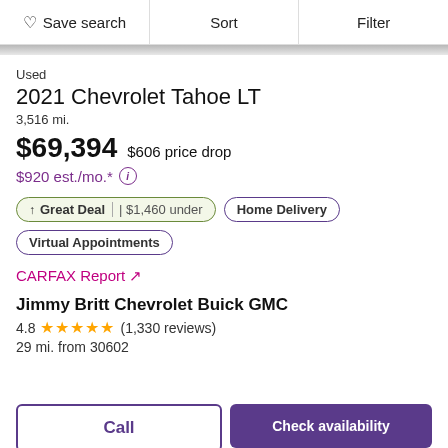Save search | Sort | Filter
Used
2021 Chevrolet Tahoe LT
3,516 mi.
$69,394  $606 price drop
$920 est./mo.*
Great Deal | $1,460 under  Home Delivery  Virtual Appointments
CARFAX Report ↗
Jimmy Britt Chevrolet Buick GMC
4.8 ★★★★★ (1,330 reviews)
29 mi. from 30602
Call  Check availability